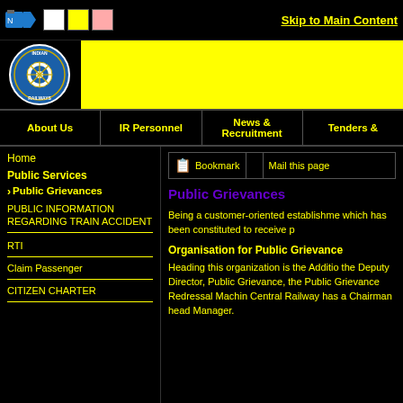Skip to Main Content
[Figure (logo): Indian Railways circular logo with wheel emblem]
[Figure (screenshot): Yellow banner header area for Indian Railways website]
About Us
IR Personnel
News & Recruitment
Tenders &
Home
Public Services
Public Grievances
PUBLIC INFORMATION REGARDING TRAIN ACCIDENT
RTI
Claim Passenger
CITIZEN CHARTER
Bookmark
Mail this page
Public Grievances
Being a customer-oriented establishment which has been constituted to receive p
Organisation for Public Grievance
Heading this organization is the Additio the Deputy Director, Public Grievance, the Public Grievance Redressal Machin Central Railway has a Chairman head Manager.